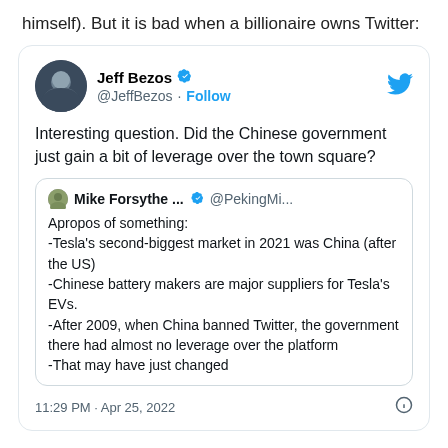himself). But it is bad when a billionaire owns Twitter:
[Figure (screenshot): Screenshot of a tweet by Jeff Bezos (@JeffBezos) with a verified checkmark and a Follow button. The tweet reads: 'Interesting question. Did the Chinese government just gain a bit of leverage over the town square?' It quotes a tweet by Mike Forsythe (@PekingMi...) which reads: 'Apropos of something: -Tesla's second-biggest market in 2021 was China (after the US) -Chinese battery makers are major suppliers for Tesla's EVs. -After 2009, when China banned Twitter, the government there had almost no leverage over the platform -That may have just changed'. Timestamp: 11:29 PM · Apr 25, 2022.]